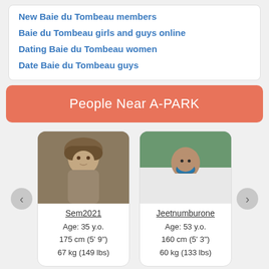New Baie du Tombeau members
Baie du Tombeau girls and guys online
Dating Baie du Tombeau women
Date Baie du Tombeau guys
People Near A-PARK
[Figure (photo): Profile photo of Sem2021, a man wearing a fur hat]
Sem2021
Age: 35 y.o.
175 cm (5' 9'')
67 kg (149 lbs)
[Figure (photo): Profile photo of Jeetnumburone, a man wearing sunglasses and white shirt]
Jeetnumburone
Age: 53 y.o.
160 cm (5' 3'')
60 kg (133 lbs)